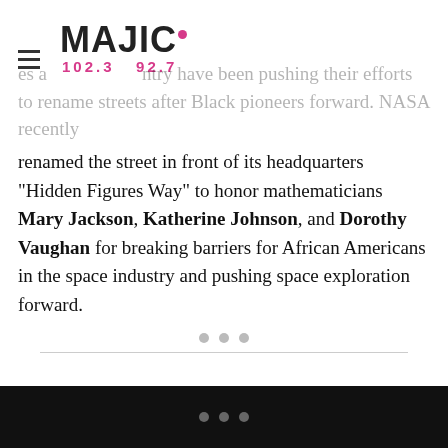MAJIC 102.3 92.7
es a…ntry have been pushing their efforts to rename streets after Black pioneers forward. NASA recently
renamed the street in front of its headquarters “Hidden Figures Way” to honor mathematicians Mary Jackson, Katherine Johnson, and Dorothy Vaughan for breaking barriers for African Americans in the space industry and pushing space exploration forward.